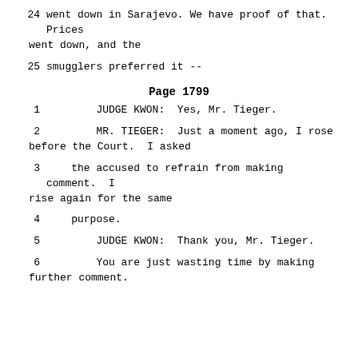24    went down in Sarajevo. We have proof of that. Prices went down, and the
25    smugglers preferred it --
Page 1799
1    JUDGE KWON:  Yes, Mr. Tieger.
2    MR. TIEGER:  Just a moment ago, I rose before the Court.  I asked
3    the accused to refrain from making comment.  I rise again for the same
4    purpose.
5    JUDGE KWON:  Thank you, Mr. Tieger.
6    You are just wasting time by making further comment.